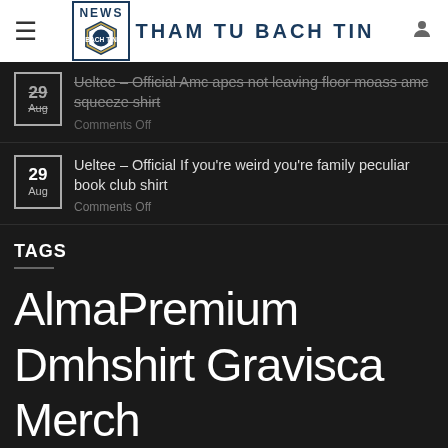NEWS THAM TU BACH TIN
Ueltee – Official Amc apes not leaving floor moass amc squeeze shirt
Comments Off
Ueltee – Official If you're weird you're family peculiar book club shirt
Comments Off
TAGS
AlmaPremium Dmhshirt Gravisca Merch Premiumtstore LLC Puppishirt Pvtboutique Toplion Sho...